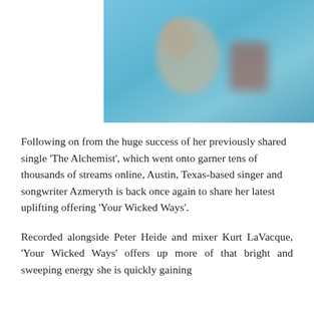[Figure (photo): A blurred photo of a person against a teal/turquoise background, with warm skin tones visible and what appears to be a reddish-brown object to the right side.]
Following on from the huge success of her previously shared single ‘The Alchemist’, which went onto garner tens of thousands of streams online, Austin, Texas-based singer and songwriter Azmeryth is back once again to share her latest uplifting offering ‘Your Wicked Ways’.
Recorded alongside Peter Heide and mixer Kurt LaVacque, ‘Your Wicked Ways’ offers up more of that bright and sweeping energy she is quickly gaining